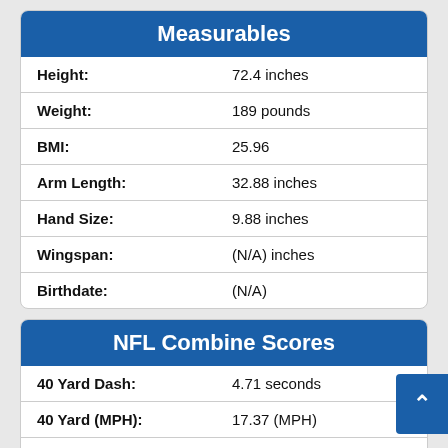Measurables
| Attribute | Value |
| --- | --- |
| Height: | 72.4 inches |
| Weight: | 189 pounds |
| BMI: | 25.96 |
| Arm Length: | 32.88 inches |
| Hand Size: | 9.88 inches |
| Wingspan: | (N/A) inches |
| Birthdate: | (N/A) |
NFL Combine Scores
| Attribute | Value |
| --- | --- |
| 40 Yard Dash: | 4.71 seconds |
| 40 Yard (MPH): | 17.37 (MPH) |
| 20 Yard Split: | 2.80 seconds |